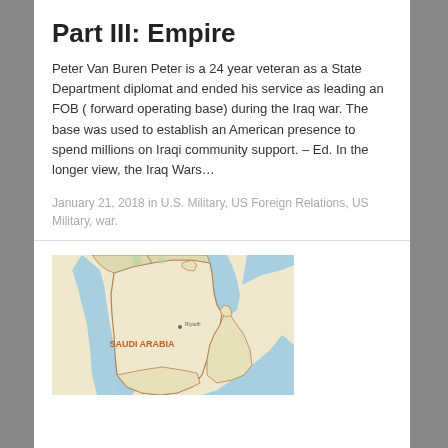Part III: Empire
Peter Van Buren Peter is a 24 year veteran as a State Department diplomat and ended his service as leading an FOB ( forward operating base) during the Iraq war. The base was used to establish an American presence to spend millions on Iraqi community support. – Ed. In the longer view, the Iraq Wars…
January 21, 2018 in U.S. Military, US Foreign Relations, US Military, war.
[Figure (map): Map showing Saudi Arabia and surrounding Middle East region with country borders and body of water labels.]